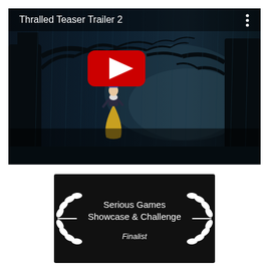[Figure (screenshot): YouTube video thumbnail for 'Thralled Teaser Trailer 2' showing a dark animated forest scene with bare tree branches, rain, and a character in a yellow dress. A red YouTube play button is overlaid in the center. Three-dot menu icon in the top right corner.]
[Figure (illustration): Award badge on black background with white laurel wreath on both sides. Text reads 'Serious Games Showcase & Challenge' and below it 'Finalist' in italics.]